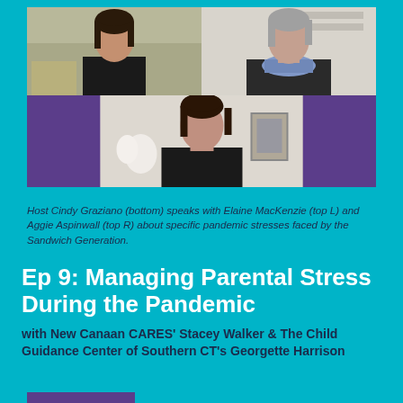[Figure (photo): Video call screenshot showing three people: top left person with dark hair in black top against neutral background, top right person with gray hair wearing blue scarf against light background, and bottom center person with dark hair in black top against light background. Purple panels fill the unused grid spaces.]
Host Cindy Graziano (bottom) speaks with Elaine MacKenzie (top L) and Aggie Aspinwall (top R) about specific pandemic stresses faced by the Sandwich Generation.
Ep 9: Managing Parental Stress During the Pandemic
with New Canaan CARES' Stacey Walker & The Child Guidance Center of Southern CT's Georgette Harrison